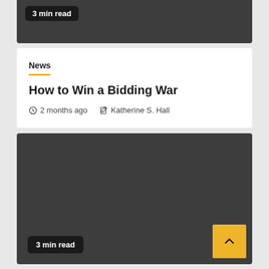3 min read
News
How to Win a Bidding War
2 months ago  Katherine S. Hall
[Figure (photo): Dark gray image card with a '3 min read' badge in the bottom left and a yellow scroll-to-top button with a caret/chevron up arrow in the bottom right corner.]